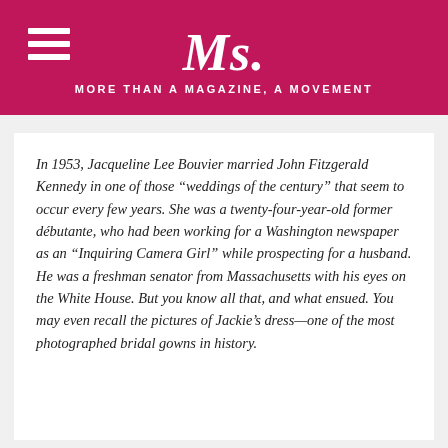Ms. MORE THAN A MAGAZINE, A MOVEMENT
In 1953, Jacqueline Lee Bouvier married John Fitzgerald Kennedy in one of those “weddings of the century” that seem to occur every few years. She was a twenty-four-year-old former débutante, who had been working for a Washington newspaper as an “Inquiring Camera Girl” while prospecting for a husband. He was a freshman senator from Massachusetts with his eyes on the White House. But you know all that, and what ensued. You may even recall the pictures of Jackie’s dress—one of the most photographed bridal gowns in history.